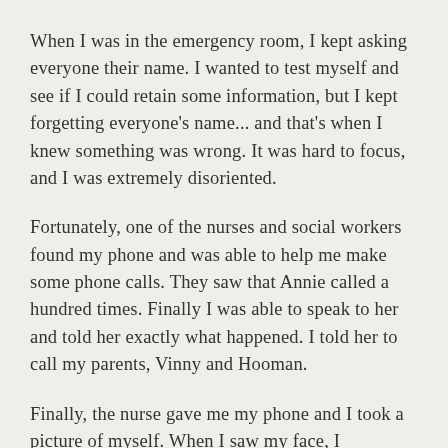When I was in the emergency room, I kept asking everyone their name. I wanted to test myself and see if I could retain some information, but I kept forgetting everyone's name... and that's when I knew something was wrong. It was hard to focus, and I was extremely disoriented.
Fortunately, one of the nurses and social workers found my phone and was able to help me make some phone calls. They saw that Annie called a hundred times. Finally I was able to speak to her and told her exactly what happened. I told her to call my parents, Vinny and Hooman.
Finally, the nurse gave me my phone and I took a picture of myself. When I saw my face, I